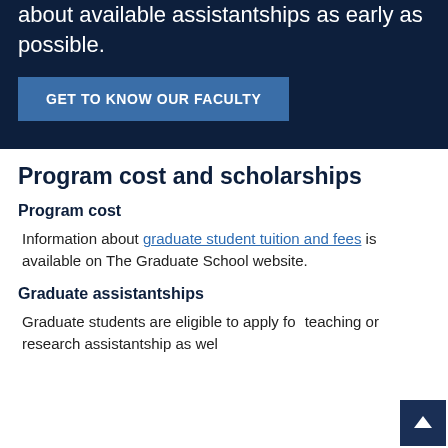about available assistantships as early as possible.
GET TO KNOW OUR FACULTY
Program cost and scholarships
Program cost
Information about graduate student tuition and fees is available on The Graduate School website.
Graduate assistantships
Graduate students are eligible to apply for teaching or research assistantship as well as